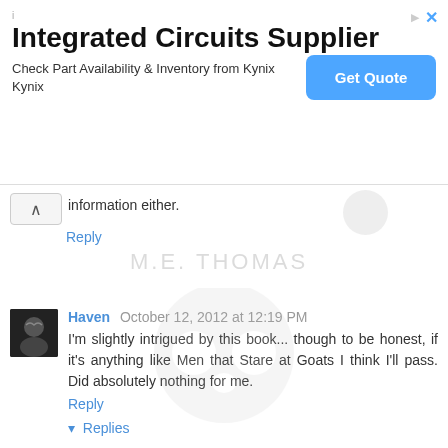[Figure (screenshot): Advertisement banner for Integrated Circuits Supplier - Kynix. Title: 'Integrated Circuits Supplier', subtitle: 'Check Part Availability & Inventory from Kynix Kynix', with a blue 'Get Quote' button.]
information either.
Reply
[Figure (illustration): Handwritten watermark text reading 'M.E. THOMAS' in light gray cursive/print letters]
Haven  October 12, 2012 at 12:19 PM
I'm slightly intrigued by this book... though to be honest, if it's anything like Men that Stare at Goats I think I'll pass. Did absolutely nothing for me.
Reply
▾  Replies
Mindless Pleasures  October 12, 2012 at 1:02 PM
It's nothing like the book 'Men that State at Goats'. And I haven't seen the film.